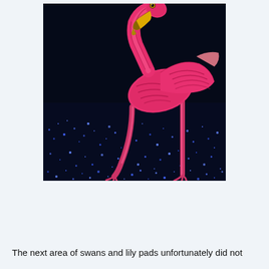[Figure (photo): A glowing flamingo lantern sculpture photographed at night. The flamingo is pink-red with detailed feather textures rendered in illuminated panels, its long neck curved down as if feeding. Two legs are visible. The ground around it is covered with small blue twinkling lights, creating a sparkling water-like effect against a dark background.]
The next area of swans and lily pads unfortunately did not